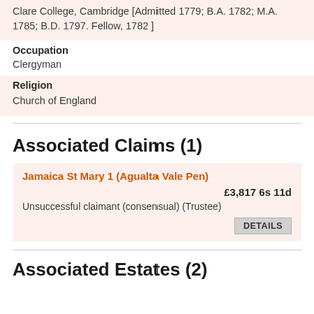Clare College, Cambridge [Admitted 1779; B.A. 1782; M.A. 1785; B.D. 1797. Fellow, 1782 ]
Occupation
Clergyman
Religion
Church of England
Associated Claims (1)
Jamaica St Mary 1 (Agualta Vale Pen)
£3,817 6s 11d
Unsuccessful claimant (consensual) (Trustee)
DETAILS
Associated Estates (2)